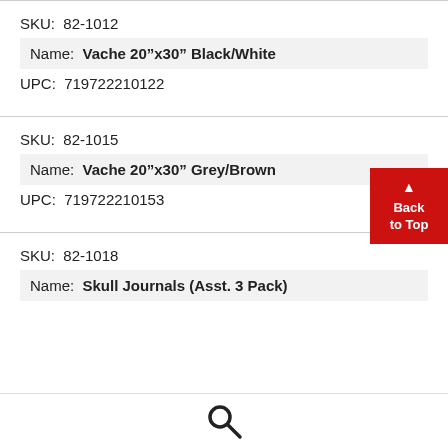SKU: 82-1012
Name: Vache 20"x30" Black/White
UPC: 719722210122
SKU: 82-1015
Name: Vache 20"x30" Grey/Brown
UPC: 719722210153
SKU: 82-1018
Name: Skull Journals (Asst. 3 Pack)